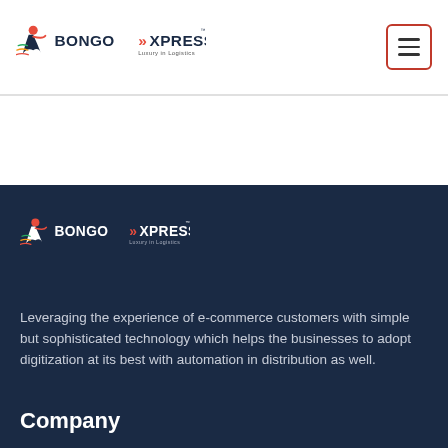Bongo Xpress – Luxury in Logistics (header with logo and hamburger menu)
[Figure (logo): Bongo Xpress logo in dark footer section – stylized runner figure with chevron arrows and text 'BONGO XPRESS Luxury in Logistics']
Leveraging the experience of e-commerce customers with simple but sophisticated technology which helps the businesses to adopt digitization at its best with automation in distribution as well.
Company